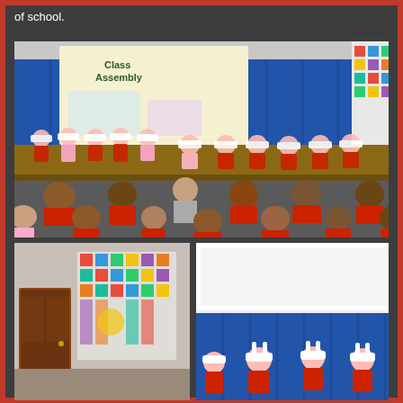of school.
[Figure (photo): School class assembly in a hall. Children wearing animal headbands sit on a stage in front of a projection screen showing 'Class Assembly'. Other children and adults sit on the floor watching.]
[Figure (photo): Left side of school hall showing colorful display board and a door.]
[Figure (photo): Right side showing children on stage with animal headbands in front of blue curtains.]